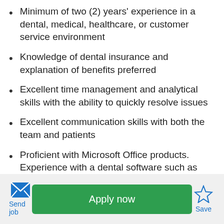Minimum of two (2) years' experience in a dental, medical, healthcare, or customer service environment
Knowledge of dental insurance and explanation of benefits preferred
Excellent time management and analytical skills with the ability to quickly resolve issues
Excellent communication skills with both the team and patients
Proficient with Microsoft Office products. Experience with a dental software such as Dentrix, Eagle Soft, or Dental Vision preferred